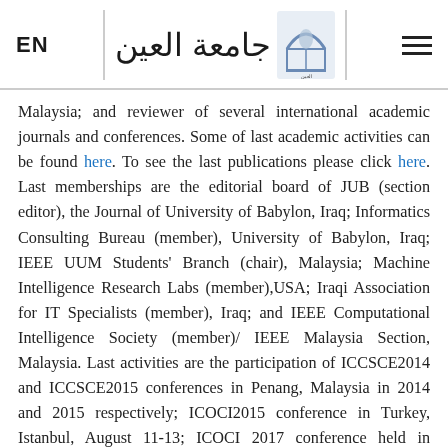EN | جامعة العين [logo] ☰
Malaysia; and reviewer of several international academic journals and conferences. Some of last academic activities can be found here. To see the last publications please click here. Last memberships are the editorial board of JUB (section editor), the Journal of University of Babylon, Iraq; Informatics Consulting Bureau (member), University of Babylon, Iraq; IEEE UUM Students' Branch (chair), Malaysia; Machine Intelligence Research Labs (member),USA; Iraqi Association for IT Specialists (member), Iraq; and IEEE Computational Intelligence Society (member)/ IEEE Malaysia Section, Malaysia. Last activities are the participation of ICCSCE2014 and ICCSCE2015 conferences in Penang, Malaysia in 2014 and 2015 respectively; ICOCI2015 conference in Turkey, Istanbul, August 11-13; ICOCI 2017 conference held in Sepang, Malaysia in 17th of April, 2017; NTICT2017 conference held in Baghdad-IRAQ, in 7th of March, 2017 and ICIT17